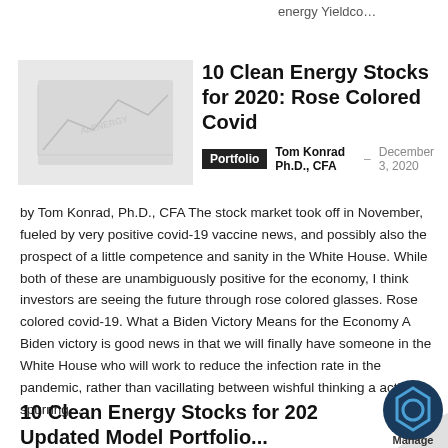energy Yieldco…
[Figure (illustration): Thumbnail image with chart/graph watermark for the article]
10 Clean Energy Stocks for 2020: Rose Colored Covid
Portfolio  Tom Konrad Ph.D., CFA – December 3, 2020
by Tom Konrad, Ph.D., CFA The stock market took off in November, fueled by very positive covid-19 vaccine news, and possibly also the prospect of a little competence and sanity in the White House. While both of these are unambiguously positive for the economy, I think investors are seeing the future through rose colored glasses. Rose colored covid-19. What a Biden Victory Means for the Economy A Biden victory is good news in that we will finally have someone in the White House who will work to reduce the infection rate in the pandemic, rather than vacillating between wishful thinking a actively spurring…
10 Clean Energy Stocks for 202 Updated Model Portfolio…
[Figure (logo): Manage badge logo in bottom right corner with page curl effect]